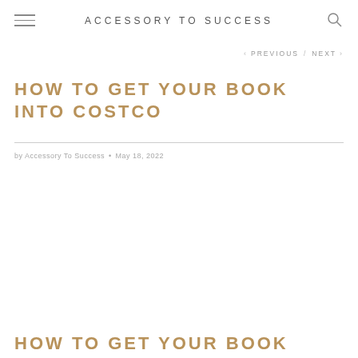ACCESSORY TO SUCCESS
< PREVIOUS / NEXT >
HOW TO GET YOUR BOOK INTO COSTCO
by Accessory To Success • May 18, 2022
HOW TO GET YOUR BOOK